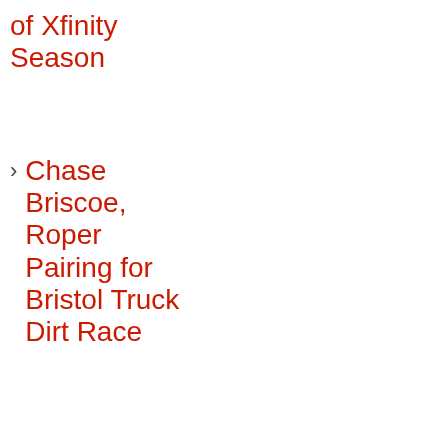of Xfinity Season
> Chase Briscoe, Roper Pairing for Bristol Truck Dirt Race
[Figure (screenshot): Dark red horizontal divider bar]
[Figure (screenshot): Gray advertisement placeholder box]
[Figure (screenshot): BitLife mobile game advertisement banner with FAIL badge, facepalm emoji character, flame graphics, BitLife logo, and START A NEW LIFE button on red background]